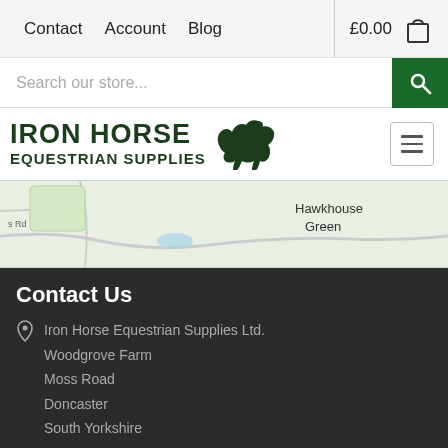Contact | Account | Blog | £0.00
Search our store...
[Figure (logo): Iron Horse Equestrian Supplies logo with horse silhouette]
[Figure (map): Map showing Hawkhouse Green area]
Contact Us
Iron Horse Equestrian Supplies Ltd.
Woodgrove Farm
Moss Road
Doncaster
South Yorkshire
DN6 0HH